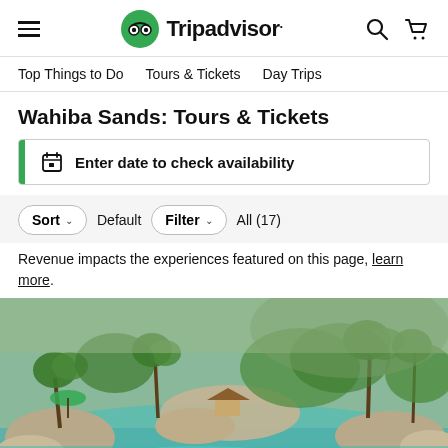Tripadvisor
Top Things to Do
Tours & Tickets
Day Trips
Wahiba Sands: Tours & Tickets
Enter date to check availability
Sort Default | Filter All (17)
Revenue impacts the experiences featured on this page, learn more.
[Figure (photo): Scenic landscape photo showing a lush oasis with turquoise water pools, palm trees, green foliage, and rocky terrain — likely Wadi Bani Khalid in Oman.]